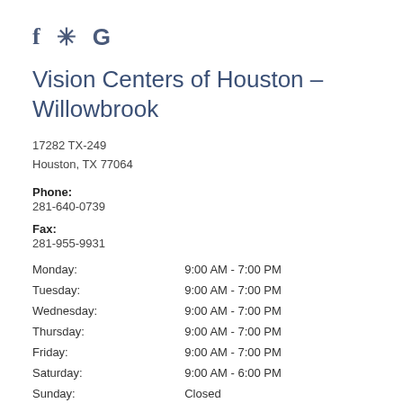[Figure (logo): Social media icons: Facebook (f), Yelp (star), Google (G) in dark blue-gray]
Vision Centers of Houston – Willowbrook
17282 TX-249
Houston, TX 77064
Phone:
281-640-0739
Fax:
281-955-9931
| Day | Hours |
| --- | --- |
| Monday: | 9:00 AM - 7:00 PM |
| Tuesday: | 9:00 AM - 7:00 PM |
| Wednesday: | 9:00 AM - 7:00 PM |
| Thursday: | 9:00 AM - 7:00 PM |
| Friday: | 9:00 AM - 7:00 PM |
| Saturday: | 9:00 AM - 6:00 PM |
| Sunday: | Closed |